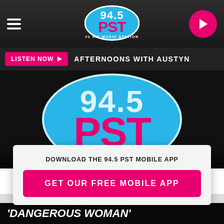94.5 PST #1 Hit Music Station
LISTEN NOW ▶ AFTERNOONS WITH AUSTYN
[Figure (logo): 94.5 PST #1 Hit Music Station logo — large oval with blue background, white 94.5 text, hot-pink PST text, and tagline #1 HIT MUSIC STATION]
DOWNLOAD THE 94.5 PST MOBILE APP
GET OUR FREE MOBILE APP
Also listen on: amazon alexa
'DANGEROUS WOMAN'